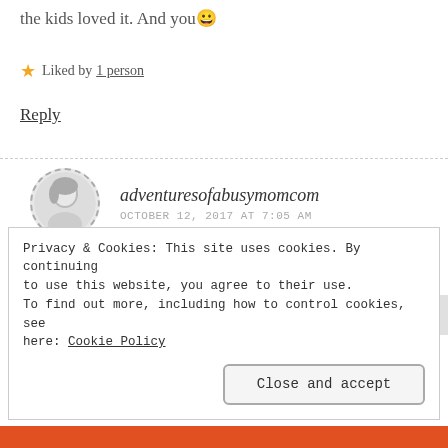the kids loved it. And you 😊
★ Liked by 1 person
Reply
adventuresofabusymomcom
OCTOBER 12, 2017 AT 7:05 AM
It really was a good one! It's on my list of favorites now for sure 🙂
Privacy & Cookies: This site uses cookies. By continuing to use this website, you agree to their use.
To find out more, including how to control cookies, see here: Cookie Policy
Close and accept